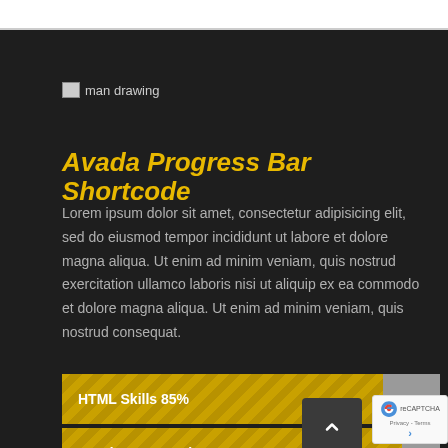[Figure (other): Broken image placeholder with alt text 'man drawing']
Avada Progress Bar Shortcode
Lorem ipsum dolor sit amet, consectetur adipisicing elit, sed do eiusmod tempor incididunt ut labore et dolore magna aliqua. Ut enim ad minim veniam, quis nostrud exercitation ullamco laboris nisi ut aliquip ex ea commodo et dolore magna aliqua. Ut enim ad minim veniam, quis nostrud consequat.
[Figure (infographic): HTML Skills progress bar showing 85% filled in yellow/gold striped pattern]
[Figure (infographic): Wordpress Development progress bar showing 90% filled in yellow/gold striped pattern]